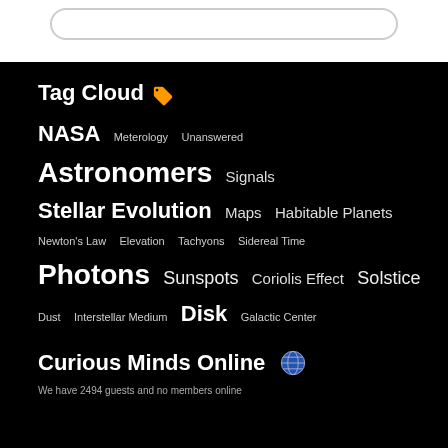Tag Cloud
NASA  Meterology  Unanswered  Astronomers  Signals  Stellar Evolution  Maps  Habitable Planets  Newton's Law  Elevation  Tachyons  Sidereal Time  Photons  Sunspots  Coriolis Effect  Solstice  Dust  Interstellar Medium  Disk  Galactic Center
Curious Minds Online
We have 2494 guests and no members online